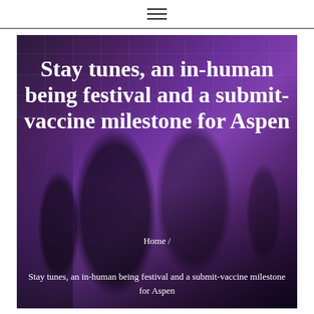☰ (hamburger menu icon)
[Figure (photo): Two people dancing at an event with purple stage lighting and a band performing in the background. The venue has a suspended ceiling grid with colored lights.]
Stay tunes, an in-human being festival and a submit-vaccine milestone for Aspen
Home / Stay tunes, an in-human being festival and a submit-vaccine milestone for Aspen